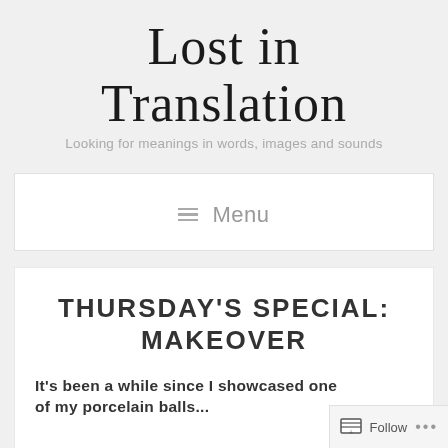Lost in Translation
Looking for meanings in words, images and sounds
≡ Menu
THURSDAY'S SPECIAL: MAKEOVER
It's been a while since I showcased one of my porcelain balls...